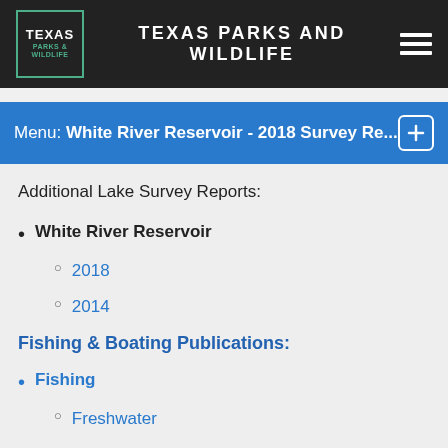TEXAS PARKS AND WILDLIFE
Menu: White River Reservoir - 2018 Survey Re...
Additional Lake Survey Reports:
White River Reservoir
2018
2014
Fishing & Boating Publications:
Fishing
Freshwater
Saltwater